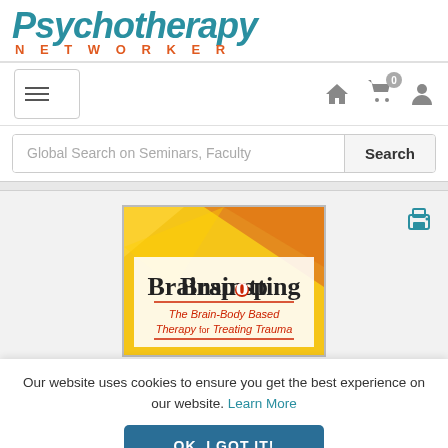[Figure (logo): Psychotherapy Networker logo with teal italic large text and orange spaced NETWORKER subtitle]
[Figure (screenshot): Navigation bar with hamburger menu button, home icon, shopping cart with 0 badge, and user profile icon]
[Figure (screenshot): Global search bar with placeholder text 'Global Search on Seminars, Faculty' and Search button]
[Figure (illustration): Brainspotting book cover with yellow/orange geometric background, large Brainspotting title with red dot for 'o', subtitle 'The Brain-Body Based Therapy for Treating Trauma']
Our website uses cookies to ensure you get the best experience on our website. Learn More
OK, I GOT IT!